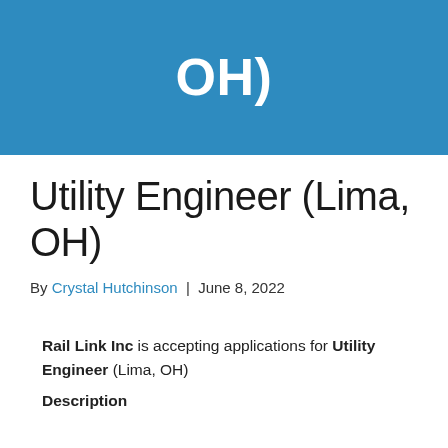OH)
Utility Engineer (Lima, OH)
By Crystal Hutchinson  |  June 8, 2022
Rail Link Inc is accepting applications for Utility Engineer (Lima, OH)
Description